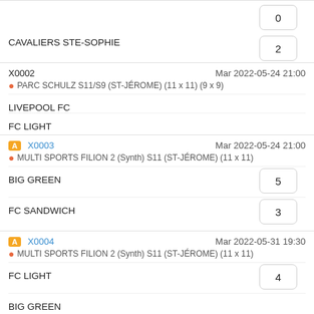0
CAVALIERS STE-SOPHIE
2
X0002  Mar 2022-05-24 21:00
PARC SCHULZ S11/S9 (ST-JÉROME) (11 x 11) (9 x 9)
LIVEPOOL FC
FC LIGHT
A X0003  Mar 2022-05-24 21:00
MULTI SPORTS FILION 2 (Synth) S11 (ST-JÉROME) (11 x 11)
BIG GREEN
5
FC SANDWICH
3
A X0004  Mar 2022-05-31 19:30
MULTI SPORTS FILION 2 (Synth) S11 (ST-JÉROME) (11 x 11)
FC LIGHT
4
BIG GREEN